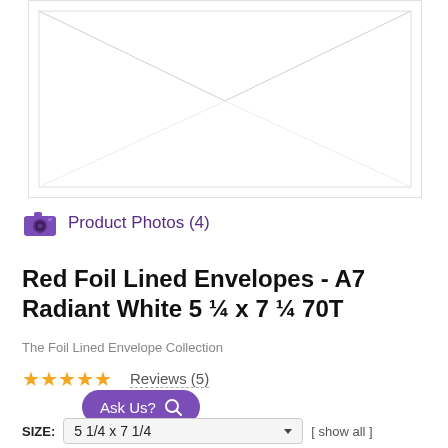[Figure (illustration): White A7 envelope shown from front, with diagonal fold lines visible at top forming a V-shaped flap. The envelope is plain white against a white background with a light gray border.]
Product Photos (4)
Red Foil Lined Envelopes - A7 Radiant White 5 ¼ x 7 ¼ 70T
The Foil Lined Envelope Collection
Reviews (5)
Ask Us?
SIZE:  5 1/4 x 7 1/4  [ show all ]